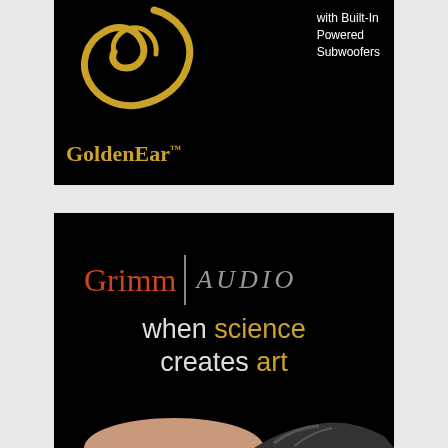[Figure (logo): GoldenEar logo advertisement on black background with golden swirl and text 'with Built-In Powered Subwoofers']
[Figure (logo): Grimm Audio advertisement on black background with tagline 'when science creates art' and hands reaching toward each other at bottom]